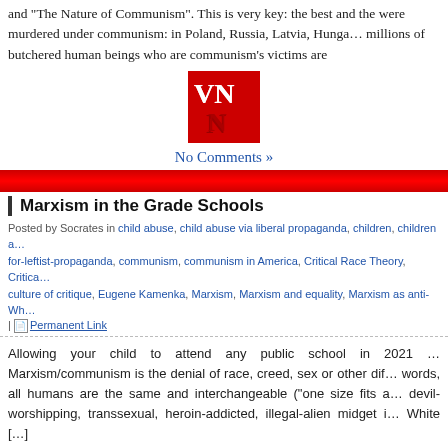and "The Nature of Communism". This is very key: the best and the … were murdered under communism: in Poland, Russia, Latvia, Hunga… millions of butchered human beings who are communism's victims are…
[Figure (logo): VNN logo - red square with white letters VN and N]
No Comments »
[Figure (other): Red banner/divider bar]
Marxism in the Grade Schools
Posted by Socrates in child abuse, child abuse via liberal propaganda, children, children a… for-leftist-propaganda, communism, communism in America, Critical Race Theory, Critica… culture of critique, Eugene Kamenka, Marxism, Marxism and equality, Marxism as anti-Wh… | Permanent Link
Allowing your child to attend any public school in 2021 … Marxism/communism is the denial of race, creed, sex or other dif… words, all humans are the same and interchangeable ("one size fits a… devil-worshipping, transsexual, heroin-addicted, illegal-alien midget i… White […]
[Figure (logo): VNN logo - red square with white letters VN and N]
No Comments »